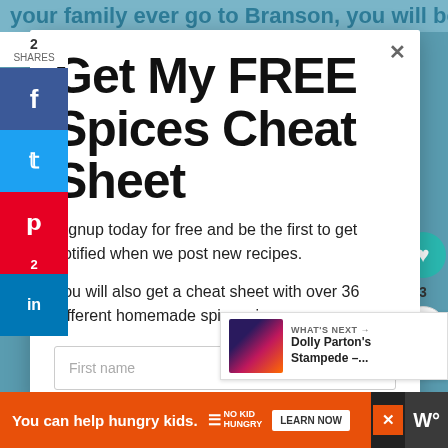your family ever go to Branson, you will be
Get My FREE Spices Cheat Sheet
Signup today for free and be the first to get notified when we post new recipes.
You will also get a cheat sheet with over 36 different homemade spice mixes.
First name
2 SHARES
WHAT'S NEXT → Dolly Parton's Stampede –...
You can help hungry kids.  NO KID HUNGRY  LEARN NOW
3